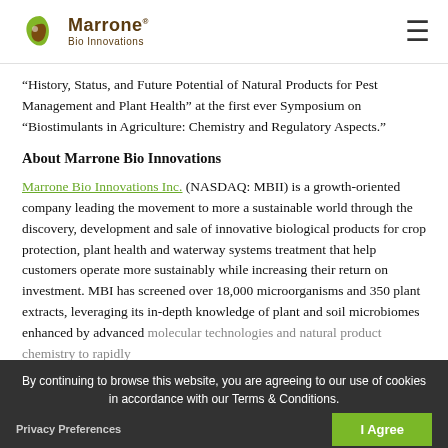Marrone Bio Innovations
“History, Status, and Future Potential of Natural Products for Pest Management and Plant Health” at the first ever Symposium on “Biostimulants in Agriculture: Chemistry and Regulatory Aspects.”
About Marrone Bio Innovations
Marrone Bio Innovations Inc. (NASDAQ: MBII) is a growth-oriented company leading the movement to more a sustainable world through the discovery, development and sale of innovative biological products for crop protection, plant health and waterway systems treatment that help customers operate more sustainably while increasing their return on investment. MBI has screened over 18,000 microorganisms and 350 plant extracts, leveraging its in-depth knowledge of plant and soil microbiomes enhanced by advanced molecular technologies and natural product chemistry to rapidly develop effective and environmentally responsible pest management products. MBI’s current biological/biopesticide products are Regalia®, Stargus®, Grandevo®, Veneri
By continuing to browse this website, you are agreeing to our use of cookies in accordance with our Terms & Conditions.
Privacy Preferences
I Agree